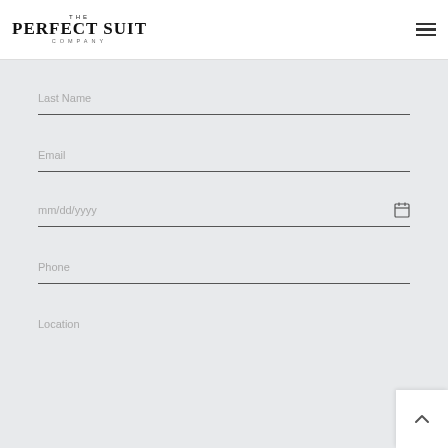[Figure (logo): The Perfect Suit Company logo with serif uppercase text]
Last Name
Email
mm/dd/yyyy
Phone
Location